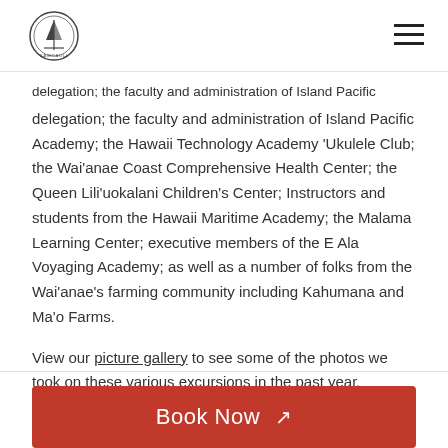Kamoauli logo and navigation menu
delegation; the faculty and administration of Island Pacific Academy; the Hawaii Technology Academy 'Ukulele Club; the Wai'anae Coast Comprehensive Health Center; the Queen Lili'uokalani Children's Center; Instructors and students from the Hawaii Maritime Academy; the Malama Learning Center; executive members of the E Ala Voyaging Academy; as well as a number of folks from the Wai'anae's farming community including Kahumana and Ma'o Farms.
View our picture gallery to see some of the photos we took on these various excursions in the past year.
Book Now ↗